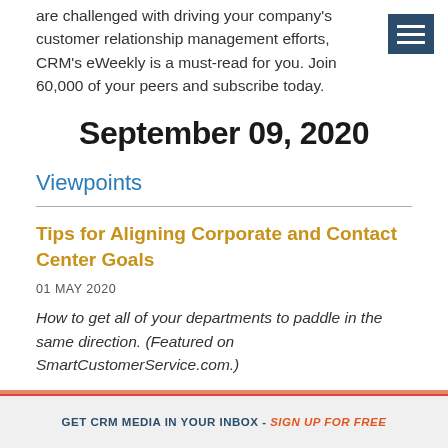are challenged with driving your company's customer relationship management efforts, CRM's eWeekly is a must-read for you. Join 60,000 of your peers and subscribe today.
September 09, 2020
Viewpoints
Tips for Aligning Corporate and Contact Center Goals
01 MAY 2020
How to get all of your departments to paddle in the same direction. (Featured on SmartCustomerService.com.)
GET CRM MEDIA IN YOUR INBOX - SIGN UP FOR FREE